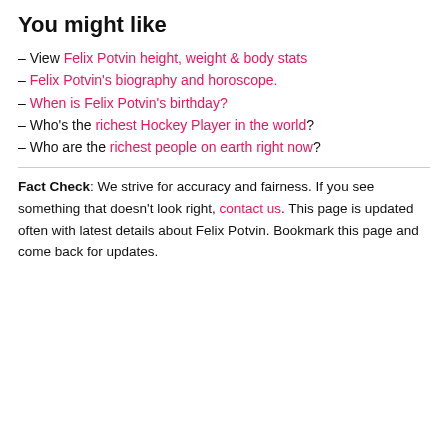You might like
– View Felix Potvin height, weight & body stats
– Felix Potvin's biography and horoscope.
– When is Felix Potvin's birthday?
– Who's the richest Hockey Player in the world?
– Who are the richest people on earth right now?
Fact Check: We strive for accuracy and fairness. If you see something that doesn't look right, contact us. This page is updated often with latest details about Felix Potvin. Bookmark this page and come back for updates.